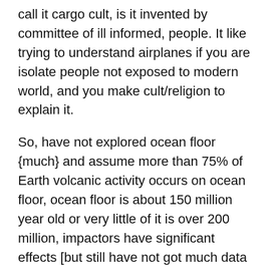call it cargo cult, is it invented by committee of ill informed, people. It like trying to understand airplanes if you are isolate people not exposed to modern world, and you make cult/religion to explain it.
So, have not explored ocean floor {much} and assume more than 75% of Earth volcanic activity occurs on ocean floor, ocean floor is about 150 million year old or very little of it is over 200 million, impactors have significant effects [but still have not got much data about these effects {most of course would have impacted the unexplored ocean floor], nor are people really informed about it, yet. Modern Education can summed as bad/poorly done brainwashing or one can kind and call it, quite primitive.